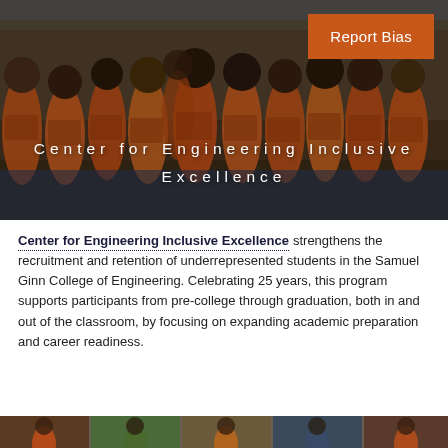[Figure (photo): Group photo of students in orange Auburn University shirts at an indoor event, with 'Center for Engineering Inclusive Excellence' text overlaid in white letters, and a 'Report Bias' button in orange in the top right corner.]
Center for Engineering Inclusive Excellence strengthens the recruitment and retention of underrepresented students in the Samuel Ginn College of Engineering. Celebrating 25 years, this program supports participants from pre-college through graduation, both in and out of the classroom, by focusing on expanding academic preparation and career readiness.
[Figure (photo): Bottom strip showing a partial view of another photo, cropped at the bottom of the page.]